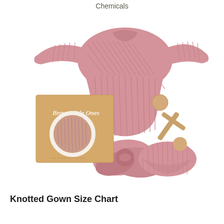Chemicals
[Figure (photo): Product photo of a dusty pink ribbed knotted baby gown set from Brave Little Ones brand. The set includes a long-sleeve ribbed pink onesie/gown with a knotted bottom, a kraft paper packaging box with the Brave Little Ones script logo and a circular pink fabric swatch, a wooden rattle toy, and a pink ribbed matching hat/beanie displayed on a white background.]
Knotted Gown Size Chart